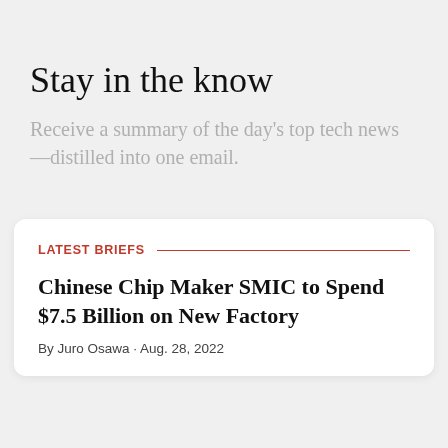Stay in the know
Receive a summary of the day's top tech news—distilled into one email.
LATEST BRIEFS
Chinese Chip Maker SMIC to Spend $7.5 Billion on New Factory
By Juro Osawa · Aug. 28, 2022